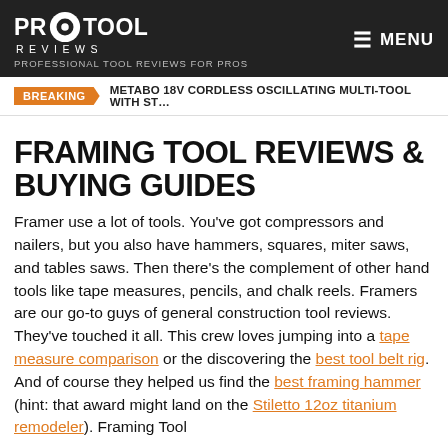PRO TOOL REVIEWS — PROFESSIONAL TOOL REVIEWS FOR PROS — MENU
BREAKING — METABO 18V CORDLESS OSCILLATING MULTI-TOOL WITH ST…
FRAMING TOOL REVIEWS & BUYING GUIDES
Framer use a lot of tools. You've got compressors and nailers, but you also have hammers, squares, miter saws, and tables saws. Then there's the complement of other hand tools like tape measures, pencils, and chalk reels. Framers are our go-to guys of general construction tool reviews. They've touched it all. This crew loves jumping into a tape measure comparison or the discovering the best tool belt rig. And of course they helped us find the best framing hammer (hint: that award might land on the Stiletto 12oz titanium remodeler). Framing Tool